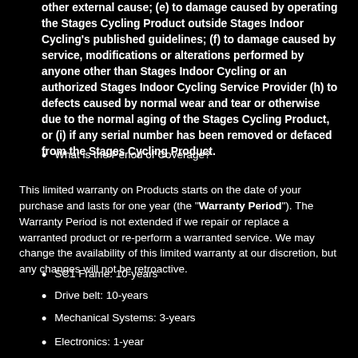other external cause; (e) to damage caused by operating the Stages Cycling Product outside Stages Indoor Cycling's published guidelines; (f) to damage caused by service, modifications or alterations performed by anyone other than Stages Indoor Cycling or an authorized Stages Indoor Cycling Service Provider (h) to defects caused by normal wear and tear or otherwise due to the normal aging of the Stages Cycling Product, or (i) if any serial number has been removed or defaced from the Stages Cycling Product.
What is the Period of Coverage?
This limited warranty on Products starts on the date of your purchase and lasts for one year (the "Warranty Period"). The Warranty Period is not extended if we repair or replace a warranted product or re-perform a warranted service. We may change the availability of this limited warranty at our discretion, but any changes will not be retroactive.
SC1 Frame: 10-years
Drive belt: 10-years
Mechanical Systems: 3-years
Electronics: 1-year